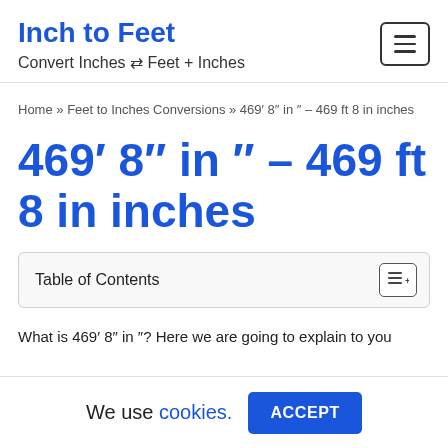Inch to Feet
Convert Inches ⇄ Feet + Inches
Home » Feet to Inches Conversions » 469′ 8″ in ″ – 469 ft 8 in inches
469′ 8″ in ″ – 469 ft 8 in inches
Table of Contents
What is 469′ 8″ in ″? Here we are going to explain to you
We use cookies. ACCEPT